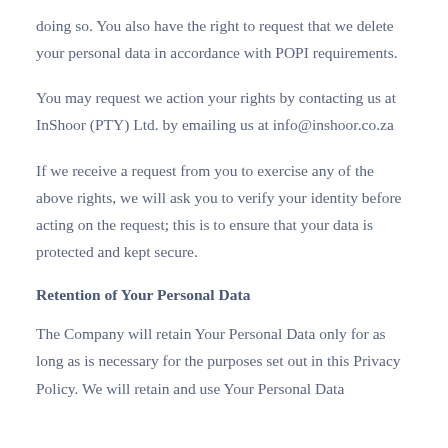doing so. You also have the right to request that we delete your personal data in accordance with POPI requirements.
You may request we action your rights by contacting us at InShoor (PTY) Ltd. by emailing us at info@inshoor.co.za
If we receive a request from you to exercise any of the above rights, we will ask you to verify your identity before acting on the request; this is to ensure that your data is protected and kept secure.
Retention of Your Personal Data
The Company will retain Your Personal Data only for as long as is necessary for the purposes set out in this Privacy Policy. We will retain and use Your Personal Data